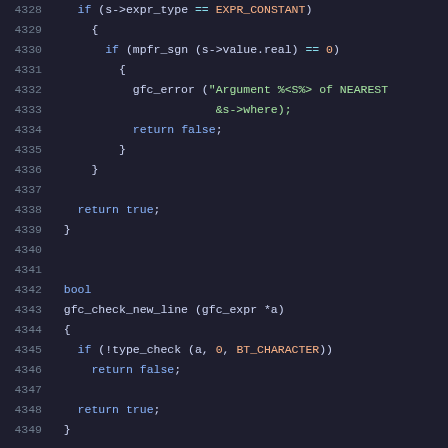[Figure (screenshot): Source code snippet in a dark-themed code editor showing C/C++ code lines 4328-4349, including conditional checks and function definitions for gfc_check_new_line]